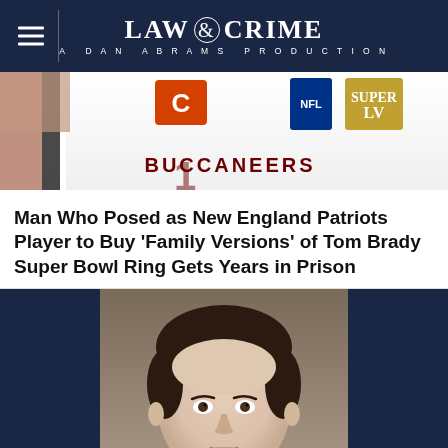LAW & CRIME — A DAN ABRAMS PRODUCTION
[Figure (photo): Photo of a person wearing a Tampa Bay Buccaneers jersey with 'BUCCANEERS' text visible, raising their hand. A Super Bowl LV patch is visible on the jersey.]
Man Who Posed as New England Patriots Player to Buy 'Family Versions' of Tom Brady Super Bowl Ring Gets Years in Prison
[Figure (photo): Mugshot-style photo of a middle-aged white male with dark hair and a small goatee, wearing a white shirt, against a neutral background with dark navy side panels.]